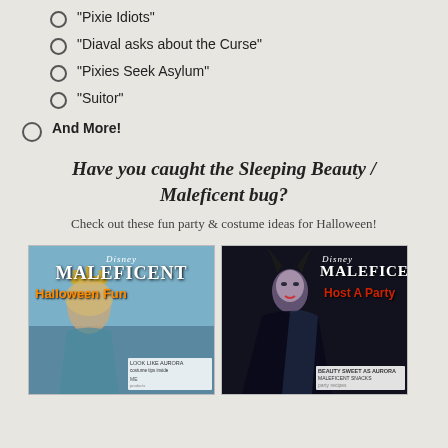“Pixie Idiots”
“Diaval asks about the Curse”
“Pixies Seek Asylum”
“Suitor”
And More!
Have you caught the Sleeping Beauty / Maleficent bug?
Check out these fun party & costume ideas for Halloween!
[Figure (illustration): Disney Maleficent Halloween Fun promotional image featuring a young woman with crown and text overlays including costume and party ideas]
[Figure (illustration): Disney Maleficent Host A Party promotional image featuring Maleficent character with party planning content and recipes]